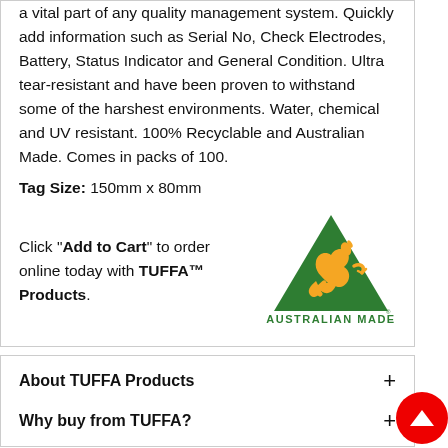a vital part of any quality management system. Quickly add information such as Serial No, Check Electrodes, Battery, Status Indicator and General Condition. Ultra tear-resistant and have been proven to withstand some of the harshest environments. Water, chemical and UV resistant. 100% Recyclable and Australian Made. Comes in packs of 100.
Tag Size: 150mm x 80mm
Click "Add to Cart" to order online today with TUFFA™ Products.
[Figure (logo): Australian Made logo — green triangle with orange kangaroo silhouette, text AUSTRALIAN MADE below]
About TUFFA Products
Why buy from TUFFA?